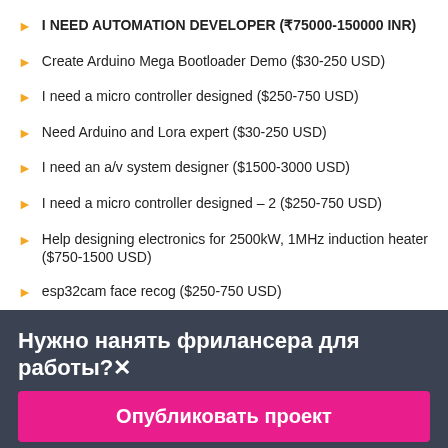I NEED AUTOMATION DEVELOPER (₹75000-150000 INR)
Create Arduino Mega Bootloader Demo ($30-250 USD)
I need a micro controller designed ($250-750 USD)
Need Arduino and Lora expert ($30-250 USD)
I need an a/v system designer ($1500-3000 USD)
I need a micro controller designed – 2 ($250-750 USD)
Help designing electronics for 2500kW, 1MHz induction heater ($750-1500 USD)
esp32cam face recog ($250-750 USD)
Нужно нанять фрилансера для работы?✕
Опубликовать проект